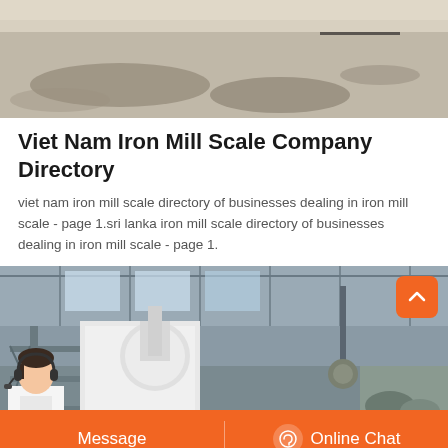[Figure (photo): Top partial photo of an outdoor industrial area with wet/stained concrete ground and some dark equipment in the background.]
Viet Nam Iron Mill Scale Company Directory
viet nam iron mill scale directory of businesses dealing in iron mill scale - page 1.sri lanka iron mill scale directory of businesses dealing in iron mill scale - page 1.
[Figure (photo): Interior of an industrial factory/warehouse with large white machinery (mill equipment), steel framework, roof trusses, and overhead crane in the background.]